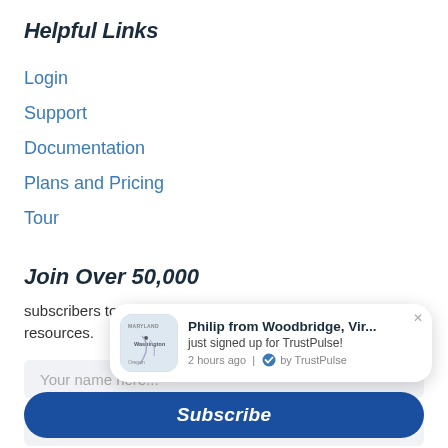Helpful Links
Login
Support
Documentation
Plans and Pricing
Tour
Join Over 50,000
subscribers to get free conversion optimization tips and resources.
Your name here...
[Figure (screenshot): TrustPulse social proof popup showing 'Philip from Woodbridge, Vir... just signed up for TrustPulse! 2 hours ago | by TrustPulse' with a map image of the Maryland/Virginia area]
Subscribe